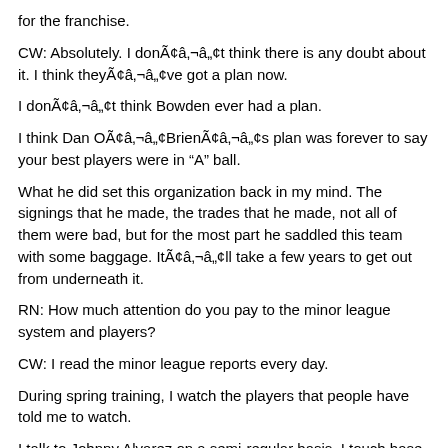for the franchise.
CW: Absolutely. I donÃ¢â‚¬â„¢t think there is any doubt about it. I think theyÃ¢â‚¬â„¢ve got a plan now.
I donÃ¢â‚¬â„¢t think Bowden ever had a plan.
I think Dan OÃ¢â‚¬â„¢BrienÃ¢â‚¬â„¢s plan was forever to say your best players were in â€œAâ€ ball.
What he did set this organization back in my mind. The signings that he made, the trades that he made, not all of them were bad, but for the most part he saddled this team with some baggage. ItÃ¢â‚¬â„¢ll take a few years to get out from underneath it.
RN: How much attention do you pay to the minor league system and players?
CW: I read the minor league reports every day.
During spring training, I watch the players that people have told me to watch.
I talk to Johnny Alvarez on a semi-regular basis. I touch base with Kriysky on certain players. I donÃ¢â‚¬â„¢t have time, to be